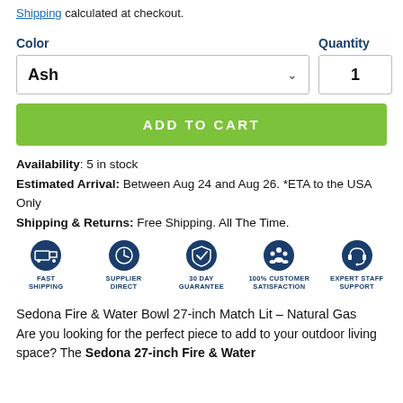Shipping calculated at checkout.
Color
Quantity
Ash
1
ADD TO CART
Availability: 5 in stock
Estimated Arrival: Between Aug 24 and Aug 26. *ETA to the USA Only
Shipping & Returns: Free Shipping. All The Time.
[Figure (infographic): Five trust badges in a row: Fast Shipping, Supplier Direct, 30 Day Guarantee, 100% Customer Satisfaction, Expert Staff Support]
Sedona Fire & Water Bowl 27-inch Match Lit – Natural Gas
Are you looking for the perfect piece to add to your outdoor living space? The Sedona 27-inch Fire & Water